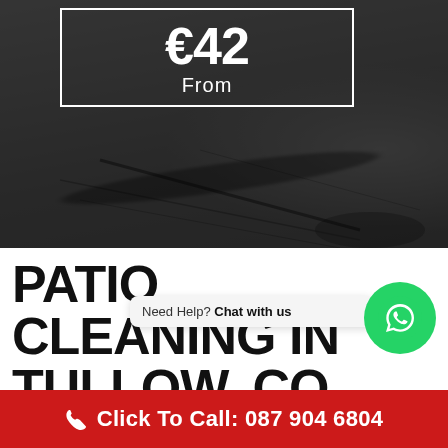[Figure (photo): Dark background showing a patio cleaning scene with shadow of person using pressure washer on grey surface]
€42
From
PATIO CLEANING IN TULLOW, Co. WICKLOW!
Need Help? Chat with us
Click To Call: 087 904 6804